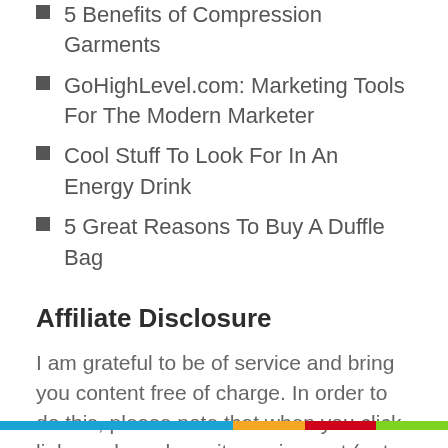5 Benefits of Compression Garments
GoHighLevel.com: Marketing Tools For The Modern Marketer
Cool Stuff To Look For In An Energy Drink
5 Great Reasons To Buy A Duffle Bag
Affiliate Disclosure
I am grateful to be of service and bring you content free of charge. In order to do this, please note that when you click links and purchase items, in most (not all) cases I will receive a referral commission. Your support in purchasing through these links empowers more people worldwide to blog with less worry and less hassle. Thank you!